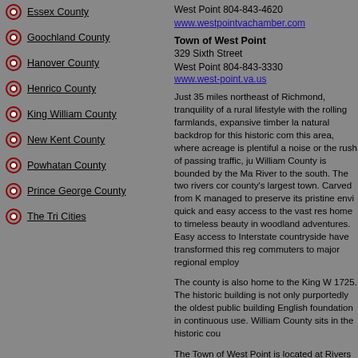Essex County
Goochland County
Hanover County
Henrico County
King William County
New Kent County
Powhatan County
Prince George County
The Tri Cities
West Point 804-843-4620
www.westpointvachamber.com
Town of West Point
329 Sixth Street
West Point 804-843-3330
www.west-point.va.us
Just 35 miles northeast of Richmond, tranquility of a rural lifestyle with the rolling farmlands, expansive timber la natural backdrop for this historic com this area, where acreage is plentiful a noise or the rush of passing traffic, ju William County is bounded by the Ma River to the south. The two rivers cor county's largest town. Carved from K managed to preserve its pristine envi quick and easy access to the vast res home to timeless beauty in woodland adventures. Easy access to Interstate countryside have transformed this reg commuters to major regional employ
The county is also home to the King W 1725. The historic building is not only purportedly the oldest public building English foundation in continuous use. William County sits in the historic cou
The Town of West Point is located at Rivers where they flow into and form incorporated town in the county. Wes soon became a thriving commercial p retains the attraction for visitors as its the water based activities offered by t town is home to a thriving downtown Walking tours of the town are a pop